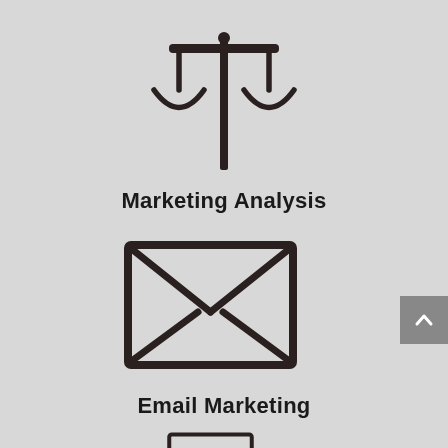[Figure (illustration): Balance/scales icon representing Marketing Analysis]
Marketing Analysis
[Figure (illustration): Envelope/email icon representing Email Marketing]
Email Marketing
[Figure (illustration): Computer monitor icon (partially visible at bottom)]